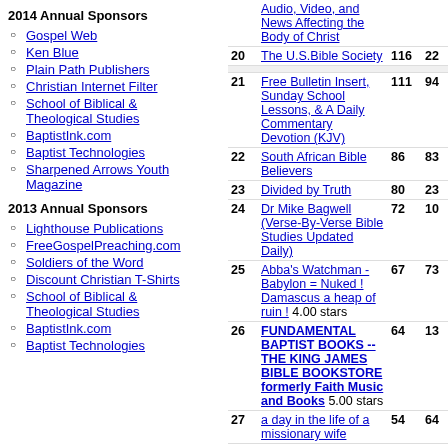2014 Annual Sponsors
Gospel Web
Ken Blue
Plain Path Publishers
Christian Internet Filter
School of Biblical & Theological Studies
BaptistInk.com
Baptist Technologies
Sharpened Arrows Youth Magazine
2013 Annual Sponsors
Lighthouse Publications
FreeGospelPreaching.com
Soldiers of the Word
Discount Christian T-Shirts
School of Biblical & Theological Studies
BaptistInk.com
Baptist Technologies
| Rank | Site | Col3 | Col4 |
| --- | --- | --- | --- |
|  | Audio, Video, and News Affecting the Body of Christ |  |  |
| 20 | The U.S.Bible Society | 116 | 22 |
|  |  |  |  |
| 21 | Free Bulletin Insert, Sunday School Lessons, & A Daily Commentary Devotion (KJV) | 111 | 94 |
| 22 | South African Bible Believers | 86 | 83 |
| 23 | Divided by Truth | 80 | 23 |
| 24 | Dr Mike Bagwell (Verse-By-Verse Bible Studies Updated Daily) | 72 | 10 |
| 25 | Abba's Watchman - Babylon = Nuked ! Damascus a heap of ruin ! 4.00 stars | 67 | 73 |
| 26 | FUNDAMENTAL BAPTIST BOOKS -- THE KING JAMES BIBLE BOOKSTORE formerly Faith Music and Books 5.00 stars | 64 | 13 |
| 27 | a day in the life of a missionary wife | 54 | 64 |
| 28 | Bible Exposition + Bible research and memorization tools | 54 | 50 |
| 29 | Cobblestone Road Ministries - Christian Apologetics, Bible Prophecy, Many Resources and Links | 53 | 33 |
| 30 | God Loves People | 51 | 37 |
| 31 | Baptist.org A Place For All Baptists | 43 | 63 |
| 32 | KJV BIBLE TOP 500 - THE TOP KING JAMES BIBLE | 41 | 13 |